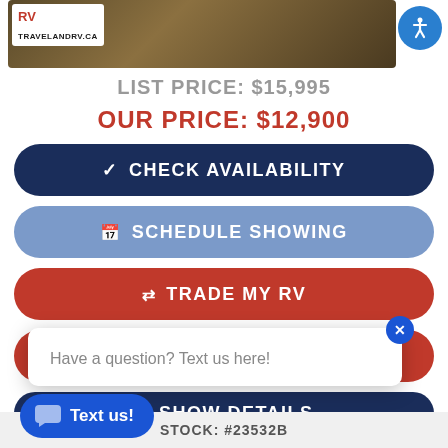[Figure (photo): TravelandRV.ca dealer banner/logo image with brown/tan background, white logo box in top-left corner, and blue accessibility icon button in top-right corner]
LIST PRICE: $15,995
OUR PRICE: $12,900
✓ CHECK AVAILABILITY
📅 SCHEDULE SHOWING
⇄ TRADE MY RV
APPLY FOR FINANCING
SHOW DETAILS
Have a question? Text us here!
Text us!
STOCK: #23532B